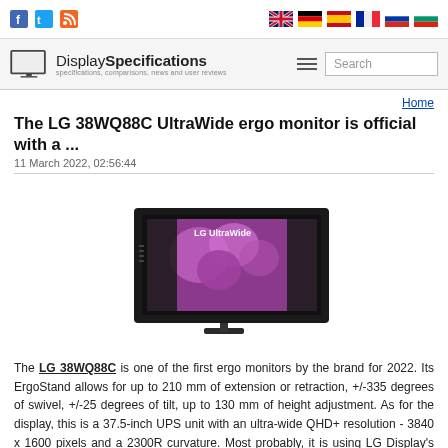Social icons: Facebook, Twitter, RSS | Language flags: English, German, Spanish, French, Russian, Bulgarian
DisplaySpecifications - specifications, comparisons, news and user reviews | Search
Home
The LG 38WQ88C UltraWide ergo monitor is official with a ...
11 March 2022, 02:56:44
[Figure (photo): LG 38WQ88C UltraWide curved monitor shown at an angle on an ergo stand, displaying a purple floral wallpaper. The monitor is black and has the LG UltraWide logo on the screen.]
The LG 38WQ88C is one of the first ergo monitors by the brand for 2022. Its ErgoStand allows for up to 210 mm of extension or retraction, +/-335 degrees of swivel, +/-25 degrees of tilt, up to 130 mm of height adjustment. As for the display, this is a 37.5-inch UPS unit with an ultra-wide QHD+ resolution - 3840 x 1600 pixels and a 2300R curvature. Most probably, it is using LG Display's LM375QW2-SSA1 panel. The screen covers 99% of the